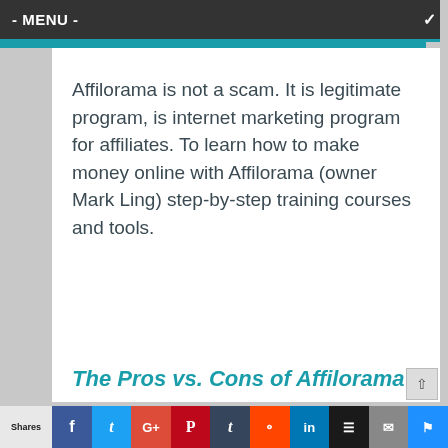- MENU -
Affilorama is not a scam. It is legitimate program, is internet marketing program for affiliates. To learn how to make money online with Affilorama (owner Mark Ling) step-by-step training courses and tools.
The Pros vs. Cons of Affilorama
Shares | f | t | G+ | P | t | reddit | in | layers | mail | flag